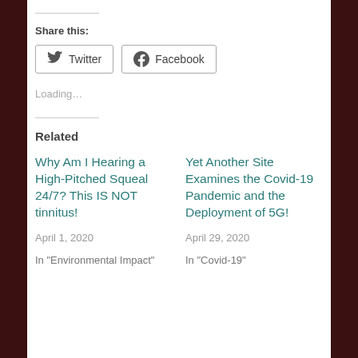Share this:
Twitter   Facebook
Loading...
Related
Why Am I Hearing a High-Pitched Squeal 24/7? This IS NOT tinnitus!
April 1, 2020
In "Environmental Impact"
Yet Another Site Examines the Covid-19 Pandemic and the Deployment of 5G!
April 29, 2020
In "Covid-19"